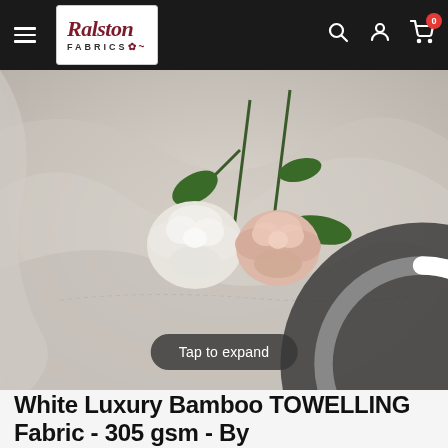Ralston Fabrics — navigation bar with hamburger menu, logo, search, account, and cart (0 items)
[Figure (photo): Close-up photo of white luxury bamboo towelling fabric draped softly, with two roses placed on top — one white and one light pink rose with dark green leaves. A circular loading/spinner icon is visible in the center of the image.]
Tap to expand
White Luxury Bamboo TOWELLING Fabric - 305 gsm - By